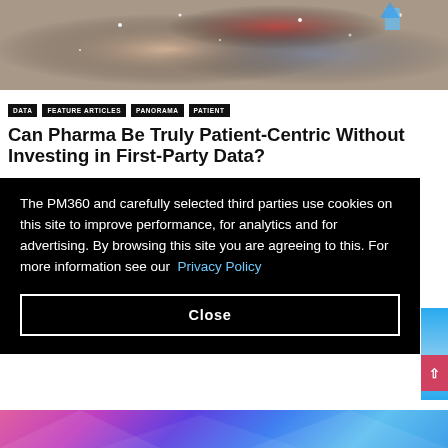[Figure (photo): A person holding a smartphone with digital health/heart graphics overlaid, sparkling light effects, red heart icon visible on screen]
DATA
FEATURE ARTICLES
PANORAMA
PATIENT
Can Pharma Be Truly Patient-Centric Without Investing in First-Party Data?
The PM360 and carefully selected third parties use cookies on this site to improve performance, for analytics and for advertising. By browsing this site you are agreeing to this. For more information see our Privacy Policy
Close